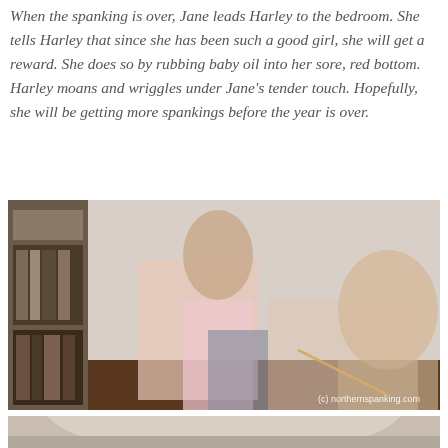When the spanking is over, Jane leads Harley to the bedroom. She tells Harley that since she has been such a good girl, she will get a reward. She does so by rubbing baby oil into her sore, red bottom. Harley moans and wriggles under Jane's tender touch. Hopefully, she will be getting more spankings before the year is over.
[Figure (photo): Photo of two women in a bedroom, one spanking the other with a cane over a bed, bookshelf visible in background. Watermark: (c) northernspanking.com]
[Figure (photo): Partial photo showing close-up, partially cropped at bottom of page.]